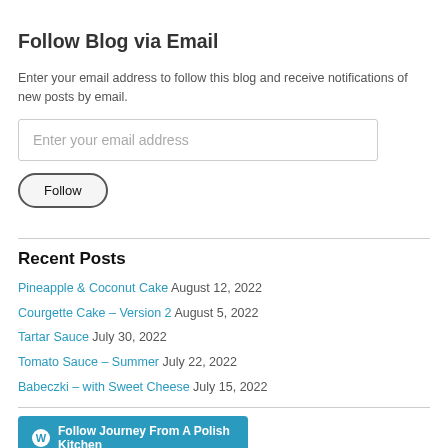Follow Blog via Email
Enter your email address to follow this blog and receive notifications of new posts by email.
Enter your email address
Follow
Recent Posts
Pineapple & Coconut Cake August 12, 2022
Courgette Cake – Version 2 August 5, 2022
Tartar Sauce July 30, 2022
Tomato Sauce – Summer July 22, 2022
Babeczki – with Sweet Cheese July 15, 2022
Follow Journey From A Polish Kitchen